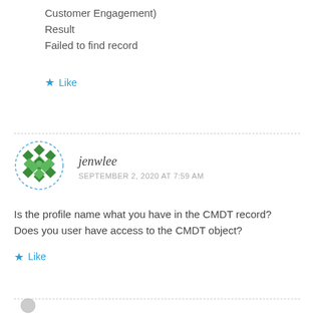Customer Engagement)
Result
Failed to find record
★ Like
jenwlee
SEPTEMBER 2, 2020 AT 7:59 AM
Is the profile name what you have in the CMDT record? Does you user have access to the CMDT object?
★ Like